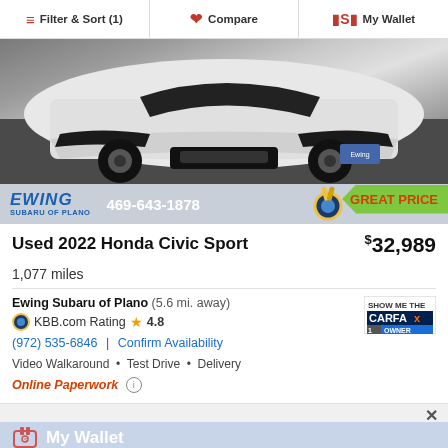Filter & Sort (1) | Compare | My Wallet
[Figure (photo): Front view of a white Honda Civic Sport on a dark pavement background]
EWING SUBARU OF PLANO  469-643-1878  GREAT PRICE
Used 2022 Honda Civic Sport  $32,989
1,077 miles
Ewing Subaru of Plano  (5.6 mi. away)
KBB.com Rating  4.8
(972) 535-6846  |  Confirm Availability
Video Walkaround • Test Drive • Delivery
Online Paperwork
My Wallet